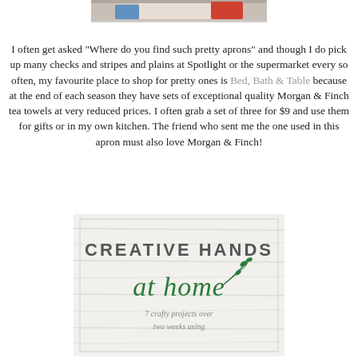[Figure (photo): Partial photo at top of page showing colorful apron or kitchen items]
I often get asked "Where do you find such pretty aprons" and though I do pick up many checks and stripes and plains at Spotlight or the supermarket every so often, my favourite place to shop for pretty ones is Bed, Bath & Table because at the end of each season they have sets of exceptional quality Morgan & Finch tea towels at very reduced prices. I often grab a set of three for $9 and use them for gifts or in my own kitchen. The friend who sent me the one used in this apron must also love Morgan & Finch!
[Figure (illustration): Creative Hands at Home logo/banner — white wood background with green text reading CREATIVE HANDS at home, subtitle: 7 crafty projects over two weeks using]